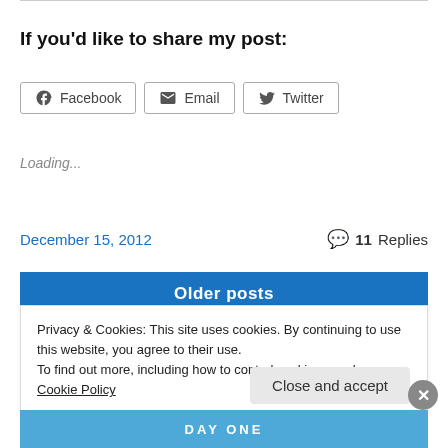If you'd like to share my post:
[Figure (other): Social share buttons: Facebook, Email, Twitter]
Loading...
December 15, 2012
11 Replies
Older posts
Privacy & Cookies: This site uses cookies. By continuing to use this website, you agree to their use.
To find out more, including how to control cookies, see here: Cookie Policy
Close and accept
DAY ONE